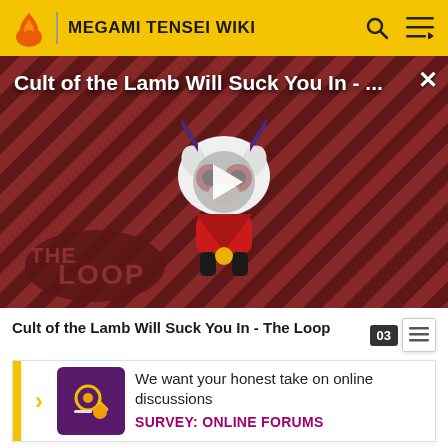MEGAMI TENSEI WIKI
[Figure (screenshot): Video thumbnail for 'Cult of the Lamb Will Suck You In - The Loop' showing an animated lamb character on a red and black diagonal striped background, with a play button in the center and 'THE LOOP' text at the bottom left.]
Cult of the Lamb Will Suck You In - The Loop
We want your honest take on online discussions
SURVEY: ONLINE FORUMS
Kinn